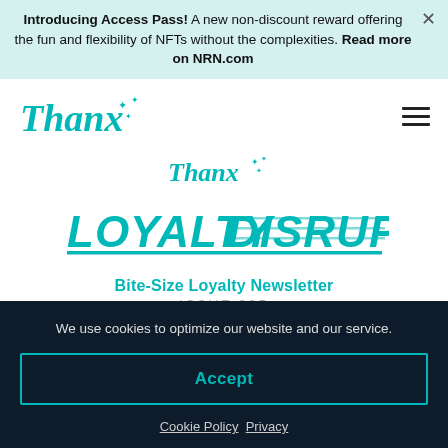Introducing Access Pass! A new non-discount reward offering the fun and flexibility of NFTs without the complexities. Read more on NRN.com
[Figure (logo): Thanx logo with sparkles in teal, top left navigation]
[Figure (logo): Thanx logo with sparkles, centered on page]
[Figure (logo): LOYALTY DISRUPT logo in teal bold stylized text with underline]
Bite-Size Loyalty Newsletter
ISSUE 005
Hi Reader,
We use cookies to optimize our website and our service.
Accept
Cookie Policy  Privacy